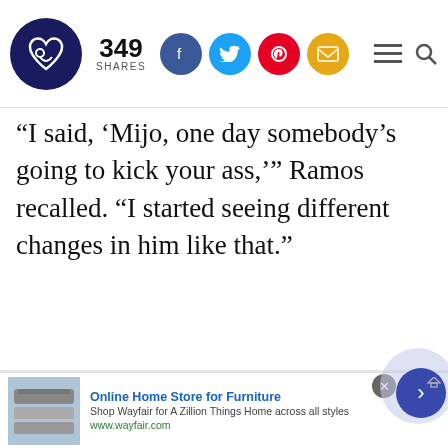349 SHARES [social icons: Facebook, Twitter, Pinterest, Email]
“I said, ‘Mijo, one day somebody’s going to kick your ass,’” Ramos recalled. “I started seeing different changes in him like that.”
ADVERTISEMENT
[Figure (screenshot): Advertisement box showing 'Wellness Searches' header with 'What is' in large blue text]
[Figure (screenshot): Bottom banner ad: Online Home Store for Furniture - Shop Wayfair for A Zillion Things Home across all styles - www.wayfair.com]